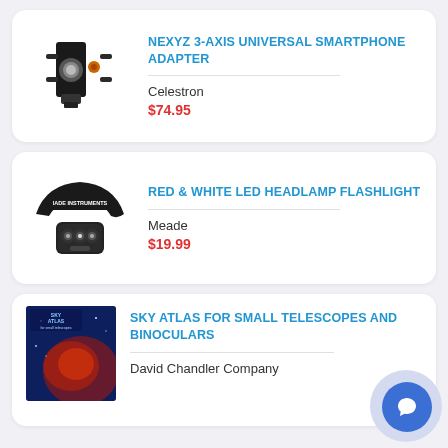[Figure (photo): Celestron NexYZ 3-axis universal smartphone adapter mount, black, shown at angle]
NEXYZ 3-AXIS UNIVERSAL SMARTPHONE ADAPTER
Celestron
$74.95
[Figure (photo): Meade Instruments red and white LED headlamp flashlight, black strap with branding]
RED & WHITE LED HEADLAMP FLASHLIGHT
Meade
$19.99
[Figure (photo): Sky Atlas for Small Telescopes and Binoculars book cover with dark blue and red nebula imagery]
SKY ATLAS FOR SMALL TELESCOPES AND BINOCULARS
David Chandler Company